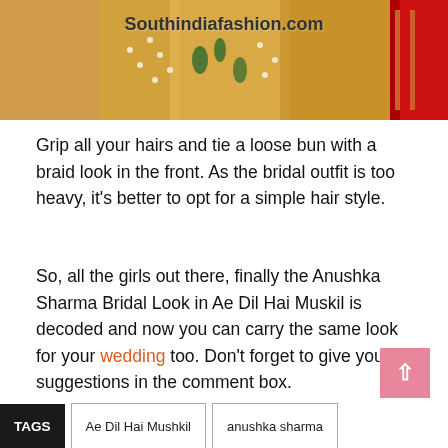[Figure (photo): Close-up photo of Indian bridal jewelry — gold necklace with green beads and pearl/gold embellishments, with red embroidered fabric. Watermark text 'Southindiafashion.com' overlaid on the image.]
Grip all your hairs and tie a loose bun with a braid look in the front. As the bridal outfit is too heavy, it's better to opt for a simple hair style.
So, all the girls out there, finally the Anushka Sharma Bridal Look in Ae Dil Hai Muskil is decoded and now you can carry the same look for your wedding too. Don't forget to give your suggestions in the comment box.
TAGS
Ae Dil Hai Mushkil
anushka sharma